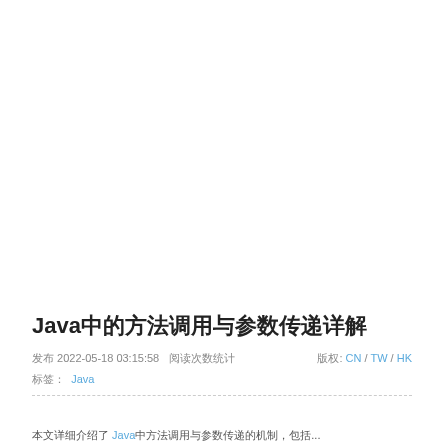Java中的方法调用与参数传递详解
发布 2022-05-18 03:15:58  阅读次数统计   版权: CN / TW / HK
标签:  Java
本文详细介绍了 Java中方法调用与参数传递的机制，包括...